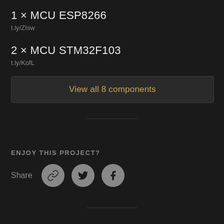1 × MCU ESP8266
t.ly/ZIsw
2 × MCU STM32F103
t.ly/KofL
View all 8 components
ENJOY THIS PROJECT?
Share